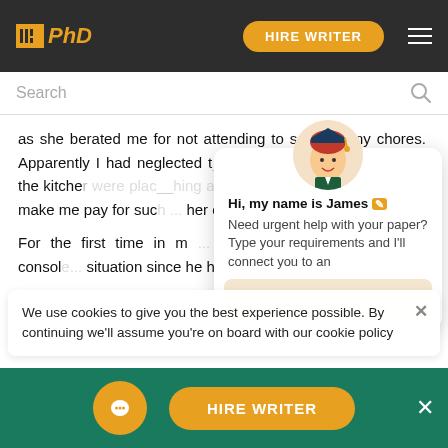PhD | HIRE WRITER
Search
as she berated me for not attending to some of my chores. Apparently I had neglected to make sure that the dishes in the kitchen were placed the way she wanted them to be. My ... make me pay for such ... her own hands and beg...
For the first time in m... tow... on... never around to consol... situation since he had r...
[Figure (illustration): Chat popup with avatar of a student wearing graduation cap. Shows 'Hi, my name is James' and text 'Need urgent help with your paper? Type your requirements and I'll connect you to an']
We use cookies to give you the best experience possible. By continuing we'll assume you're on board with our cookie policy
HIRE WRITER